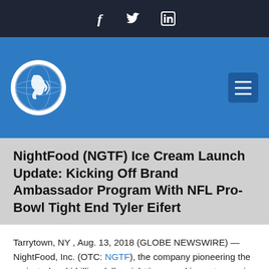f  Twitter  LinkedIn (social icons)
[Figure (logo): NightFood/PR Newswire circular logo with globe and speaker icon, on blue header bar with hamburger menu button]
NightFood (NGTF) Ice Cream Launch Update: Kicking Off Brand Ambassador Program With NFL Pro-Bowl Tight End Tyler Eifert
Tarrytown, NY , Aug. 13, 2018 (GLOBE NEWSWIRE) — NightFood, Inc. (OTC: NGTF), the company pioneering the projected multi-billion dollar nighttime snacking category, is pleased to announce that Tyler Eifert, of the NFL's Cincinnati Bengals, has joined the NightFood team as a brand ambassador.